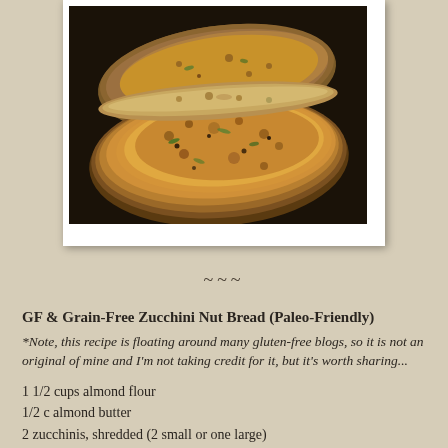[Figure (photo): Photograph of golden-brown zucchini nut bread patties/fritters on a dark surface, showing crispy textured exterior with one piece broken open to reveal interior]
~~~
GF & Grain-Free Zucchini Nut Bread (Paleo-Friendly)
*Note, this recipe is floating around many gluten-free blogs, so it is not an original of mine and I'm not taking credit for it, but it's worth sharing...
1 1/2 cups almond flour
1/2 c almond butter
2 zucchinis, shredded (2 small or one large)
4 eggs, separated